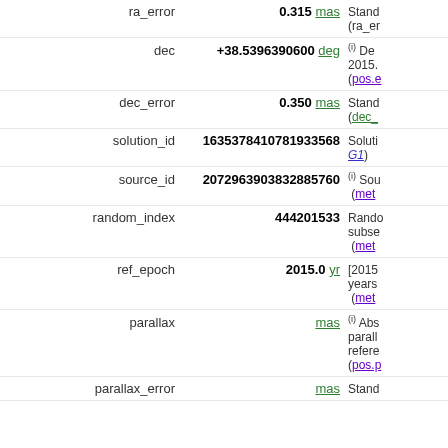| Field | Value | Description |
| --- | --- | --- |
| ra_error | 0.315 mas | Stand... (ra_er... |
| dec | +38.5396390600 deg | (i) De... 2015. (pos.e... |
| dec_error | 0.350 mas | Stand... (dec_... |
| solution_id | 1635378410781933568 | Soluti... G1) |
| source_id | 2072963903832885760 | (i) Sou... (met... |
| random_index | 444201533 | Rando... subse... (met... |
| ref_epoch | 2015.0 yr | [2015... years (met... |
| parallax | mas | (i) Abs... parall... refere... (pos.p... |
| parallax_error | mas | Stand... |